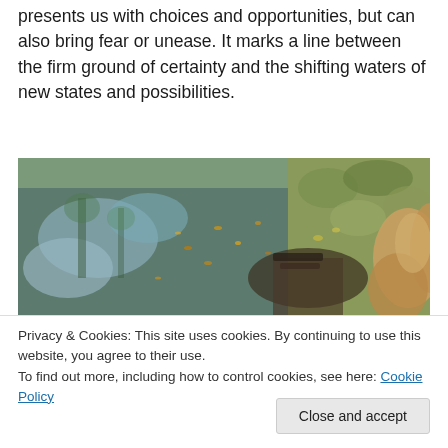presents us with choices and opportunities, but can also bring fear or unease. It marks a line between the firm ground of certainty and the shifting waters of new states and possibilities.
[Figure (photo): A photograph of a dog (golden retriever) at the edge of a stream or pond, with water reflecting trees and sky, and grassy bank visible.]
Privacy & Cookies: This site uses cookies. By continuing to use this website, you agree to their use.
To find out more, including how to control cookies, see here: Cookie Policy
Close and accept